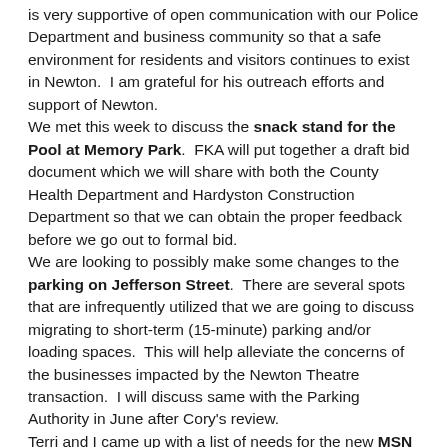is very supportive of open communication with our Police Department and business community so that a safe environment for residents and visitors continues to exist in Newton.  I am grateful for his outreach efforts and support of Newton.
We met this week to discuss the snack stand for the Pool at Memory Park.  FKA will put together a draft bid document which we will share with both the County Health Department and Hardyston Construction Department so that we can obtain the proper feedback before we go out to formal bid.
We are looking to possibly make some changes to the parking on Jefferson Street.  There are several spots that are infrequently utilized that we are going to discuss migrating to short-term (15-minute) parking and/or loading spaces.  This will help alleviate the concerns of the businesses impacted by the Newton Theatre transaction.  I will discuss same with the Parking Authority in June after Cory's review.
Terri and I came up with a list of needs for the new MSN website and sent the list over to the Board